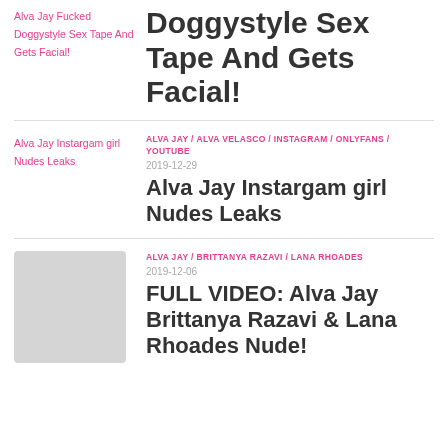Alva Jay Fucked Doggystyle Sex Tape And Gets Facial! [link text] / Doggystyle Sex Tape And Gets Facial! [heading]
ALVA JAY / ALVA VELASCO / INSTAGRAM / ONLYFANS / YOUTUBE | 2019-12-29 | Alva Jay Instargam girl Nudes Leaks
ALVA JAY / BRITTANYA RAZAVI / LANA RHOADES | 2019-12-06 | FULL VIDEO: Alva Jay Brittanya Razavi & Lana Rhoades Nude!